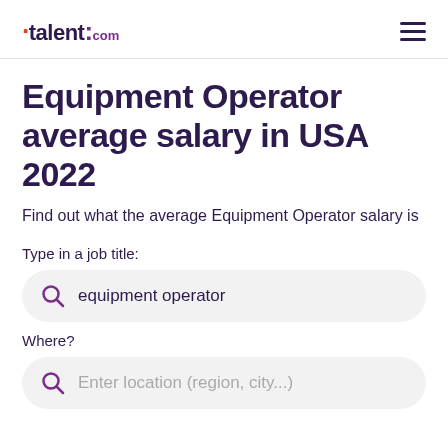talent.com
Equipment Operator average salary in USA 2022
Find out what the average Equipment Operator salary is
Type in a job title:
equipment operator
Where?
Enter location (region, city...)